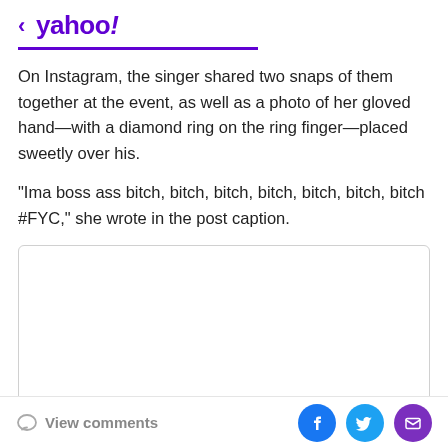< yahoo!
On Instagram, the singer shared two snaps of them together at the event, as well as a photo of her gloved hand—with a diamond ring on the ring finger—placed sweetly over his.
"Ima boss ass bitch, bitch, bitch, bitch, bitch, bitch, bitch #FYC," she wrote in the post caption.
[Figure (other): Embedded content box (empty/blank white rectangle with border)]
View comments | Social share buttons: Facebook, Twitter, Email